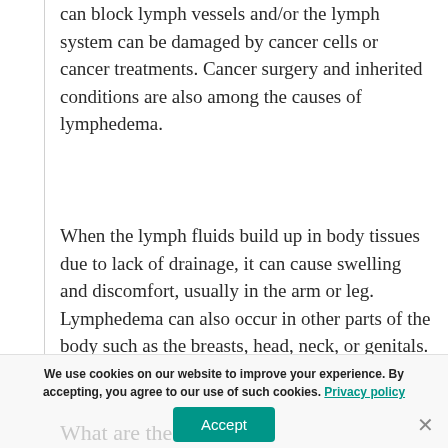can block lymph vessels and/or the lymph system can be damaged by cancer cells or cancer treatments. Cancer surgery and inherited conditions are also among the causes of lymphedema.
When the lymph fluids build up in body tissues due to lack of drainage, it can cause swelling and discomfort, usually in the arm or leg. Lymphedema can also occur in other parts of the body such as the breasts, head, neck, or genitals.
We use cookies on our website to improve your experience. By accepting, you agree to our use of such cookies. Privacy policy
What are the